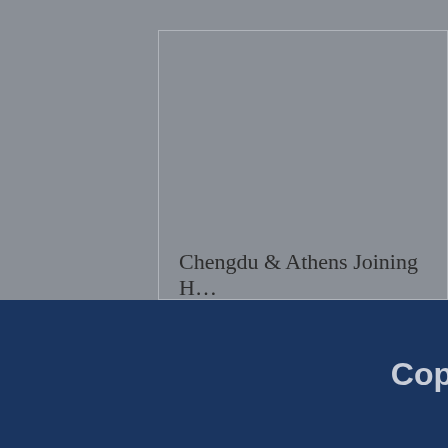Chengdu & Athens Joining H…
Greece becomes the 19th country to establish a consulate in Chengdu.
Cop